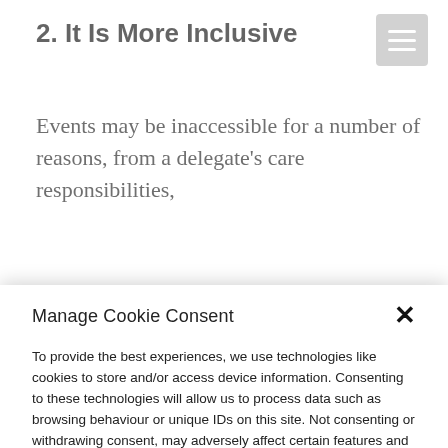2. It Is More Inclusive
Events may be inaccessible for a number of reasons, from a delegate's care responsibilities,
Manage Cookie Consent
To provide the best experiences, we use technologies like cookies to store and/or access device information. Consenting to these technologies will allow us to process data such as browsing behaviour or unique IDs on this site. Not consenting or withdrawing consent, may adversely affect certain features and functions.
Accept
View preferences
Cookie Policy  Privacy Policy